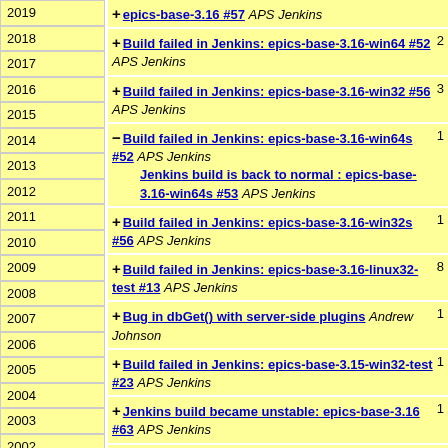2019
2018
2017
2016
2015
2014
2013
2012
2011
2010
2009
2008
2007
2006
2005
2004
2003
2002
QTi-talk
Search
Hw-talk
Build failed in Jenkins: epics-base-3.16 #57 APS Jenkins
Build failed in Jenkins: epics-base-3.16-win64 #52 APS Jenkins 2
Build failed in Jenkins: epics-base-3.16-win32 #56 APS Jenkins 3
Build failed in Jenkins: epics-base-3.16-win64s #52 APS Jenkins Jenkins build is back to normal : epics-base-3.16-win64s #53 APS Jenkins 1
Build failed in Jenkins: epics-base-3.16-win32s #56 APS Jenkins 1
Build failed in Jenkins: epics-base-3.16-linux32-test #13 APS Jenkins 8
Bug in dbGet() with server-side plugins Andrew Johnson 1
Build failed in Jenkins: epics-base-3.15-win32-test #23 APS Jenkins 1
Jenkins build became unstable: epics-base-3.16 #63 APS Jenkins 1
Build failed in Jenkins: epics-base-3.16-mac-test #42 APS Jenkins Re: Build failed in Jenkins: 3